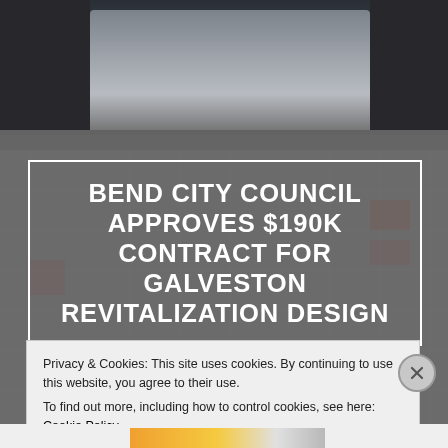[Figure (photo): Background image showing a person in formal attire (top portion) overlapping with faint architectural blueprint drawings, creating a dark gray background behind the headline.]
BEND CITY COUNCIL APPROVES $190K CONTRACT FOR GALVESTON REVITALIZATION DESIGN
Privacy & Cookies: This site uses cookies. By continuing to use this website, you agree to their use.
To find out more, including how to control cookies, see here: Cookie Policy
Close and accept